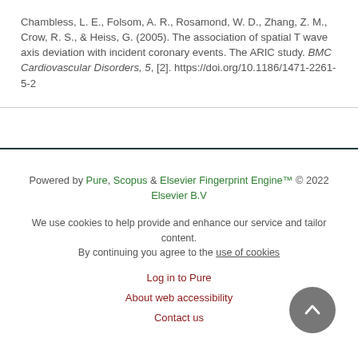Chambless, L. E., Folsom, A. R., Rosamond, W. D., Zhang, Z. M., Crow, R. S., & Heiss, G. (2005). The association of spatial T wave axis deviation with incident coronary events. The ARIC study. BMC Cardiovascular Disorders, 5, [2]. https://doi.org/10.1186/1471-2261-5-2
Powered by Pure, Scopus & Elsevier Fingerprint Engine™ © 2022 Elsevier B.V
We use cookies to help provide and enhance our service and tailor content. By continuing you agree to the use of cookies
Log in to Pure
About web accessibility
Contact us